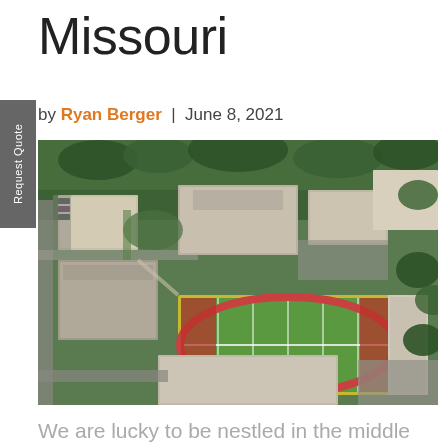Missouri
by Ryan Berger | June 8, 2021
[Figure (photo): Aerial view of a university campus in Cape Girardeau, Missouri, showing buildings, a football field with red turf markings, parking lots, and surrounding green trees.]
We are lucky to be nestled in the middle of Cape Girardeau, Missouri, a community full of thriving businesses, rich history, and new ideas.